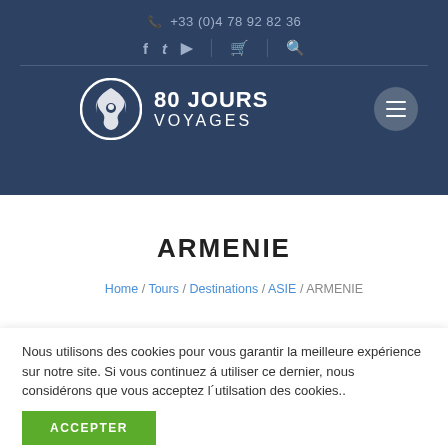+33 (0)4 78 92 82 36
[Figure (logo): 80 Jours Voyages logo with circular phoenix emblem and bold white text]
ARMENIE
Home / Tours / Destinations / ASIE / ARMENIE
Nous utilisons des cookies pour vous garantir la meilleure expérience sur notre site. Si vous continuez á utiliser ce dernier, nous considérons que vous acceptez l´utilsation des cookies..
ACCEPTER